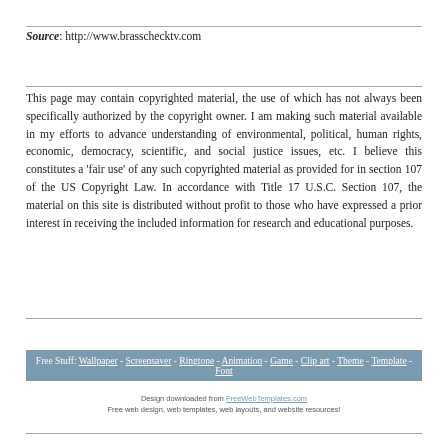Source: http://www.brasschecktv.com
This page may contain copyrighted material, the use of which has not always been specifically authorized by the copyright owner. I am making such material available in my efforts to advance understanding of environmental, political, human rights, economic, democracy, scientific, and social justice issues, etc. I believe this constitutes a 'fair use' of any such copyrighted material as provided for in section 107 of the US Copyright Law. In accordance with Title 17 U.S.C. Section 107, the material on this site is distributed without profit to those who have expressed a prior interest in receiving the included information for research and educational purposes.
Free Stuff: Wallpaper - Screensaver - Ringtone - Animation - Game - Clip art - Theme - Template - Font
Design downloaded from FreeWebTemplates.com
Free web design, web templates, web layouts, and website resources!